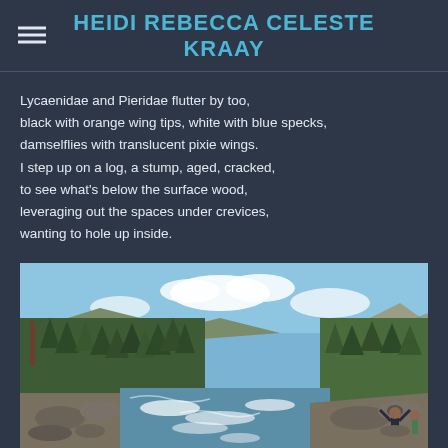HEIDI REBECCA CELESTE KRAAY
Lycaenidae and Pieridae flutter by too,
black with orange wing tips, white with blue specks,
damselflies with translucent pixie wings.
I step up on a log, a stump, aged, cracked,
to see what's below the surface wood,
leveraging out the spaces under crevices,
wanting to hole up inside.
[Figure (photo): Outdoor nature photo of a river with rapids flowing between rocky banks, surrounded by tall evergreen pine trees on forested hillsides, with mountains visible in the background under a blue sky with clouds. A person in a dark jacket stands on a rock in the lower right corner with arms raised.]